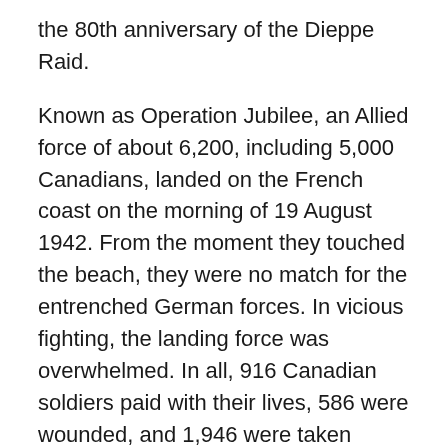the 80th anniversary of the Dieppe Raid.
Known as Operation Jubilee, an Allied force of about 6,200, including 5,000 Canadians, landed on the French coast on the morning of 19 August 1942. From the moment they touched the beach, they were no match for the entrenched German forces. In vicious fighting, the landing force was overwhelmed. In all, 916 Canadian soldiers paid with their lives, 586 were wounded, and 1,946 were taken prisoner. The Dieppe Raid remains one of the worst disasters in Canadian military history.
Robert D'Aoust has researched and compiled biographical information on the 916 soldiers who died. The Sacrifice We Will Not Forget, Dieppe Raid, hot of the press, consists of three volumes and more than 1100 pages with a profile of every one of the soldiers, including extensive personal and service information,